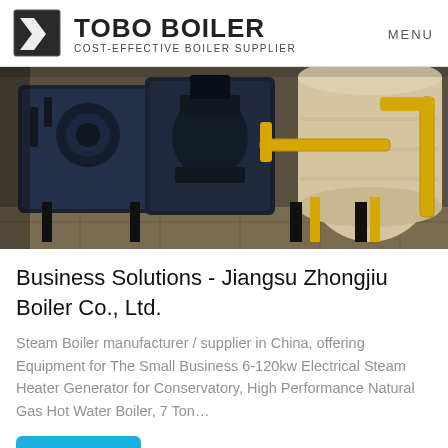TOBO BOILER COST-EFFECTIVE BOILER SUPPLIER | MENU
[Figure (photo): Industrial boilers installation in a facility — dark/navy blue boilers with yellow pipes and supports, a large cylindrical tan/cream colored boiler body visible in the background.]
Business Solutions - Jiangsu Zhongjiu Boiler Co., Ltd.
Steam Boiler manufacturer / supplier in China, offering Equipment for The Small Business 6-120kw Electrical Steam Heater Generator for Conservatory, High Performance Natural Gas Hot Water Boiler, 7 Ton…
Get Price